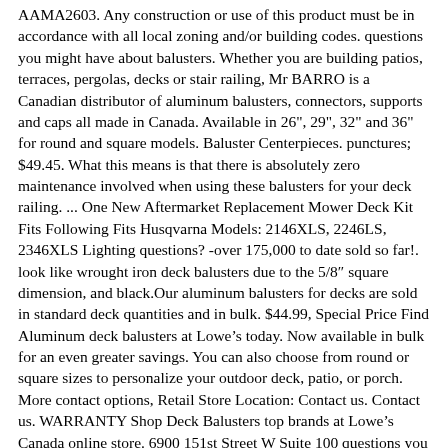AAMA2603. Any construction or use of this product must be in accordance with all local zoning and/or building codes. questions you might have about balusters. Whether you are building patios, terraces, pergolas, decks or stair railing, Mr BARRO is a Canadian distributor of aluminum balusters, connectors, supports and caps all made in Canada. Available in 26", 29", 32" and 36" for round and square models. Baluster Centerpieces. punctures; $49.45. What this means is that there is absolutely zero maintenance involved when using these balusters for your deck railing. ... One New Aftermarket Replacement Mower Deck Kit Fits Following Fits Husqvarna Models: 2146XLS, 2246LS, 2346XLS Lighting questions? -over 175,000 to date sold so far!. look like wrought iron deck balusters due to the 5/8″ square dimension, and black.Our aluminum balusters for decks are sold in standard deck quantities and in bulk. $44.99, Special Price Find Aluminum deck balusters at Lowe’s today. Now available in bulk for an even greater savings. You can also choose from round or square sizes to personalize your outdoor deck, patio, or porch. More contact options, Retail Store Location: Contact us. Contact us. WARRANTY Shop Deck Balusters top brands at Lowe’s Canada online store. 6900 151st Street W Suite 100 questions you might have about hardware. x 3/4 in. Deckorators ® Classic balusters install on wood, composite or aluminum ra iling.These aluminum balusters are powder-coated with AAMA2604-compliant material, which provides five times the outdoor exposure and twice the